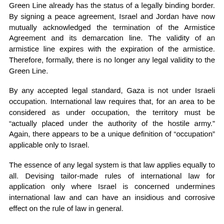Green Line already has the status of a legally binding border. By signing a peace agreement, Israel and Jordan have now mutually acknowledged the termination of the Armistice Agreement and its demarcation line. The validity of an armistice line expires with the expiration of the armistice. Therefore, formally, there is no longer any legal validity to the Green Line.
By any accepted legal standard, Gaza is not under Israeli occupation. International law requires that, for an area to be considered as under occupation, the territory must be "actually placed under the authority of the hostile army." Again, there appears to be a unique definition of "occupation" applicable only to Israel.
The essence of any legal system is that law applies equally to all. Devising tailor-made rules of international law for application only where Israel is concerned undermines international law and can have an insidious and corrosive effect on the rule of law in general.
The attempts to brand Israel as a state that violates rules of international law have become a recurrent feature of the "lawfare" being waged against Israel. Although no state has a perfect record in this regard, Israel's record of compliance with international law is remarkably strong. Israeli courts